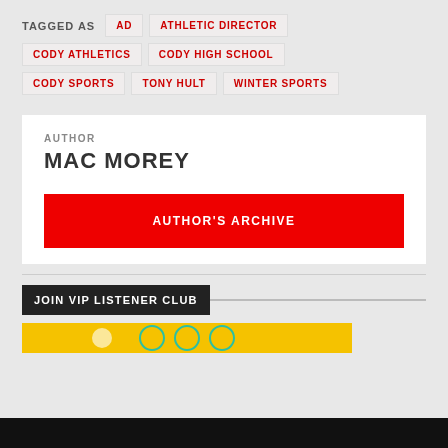TAGGED AS
AD
ATHLETIC DIRECTOR
CODY ATHLETICS
CODY HIGH SCHOOL
CODY SPORTS
TONY HULT
WINTER SPORTS
AUTHOR
MAC MOREY
AUTHOR'S ARCHIVE
JOIN VIP LISTENER CLUB
[Figure (other): VIP Listener Club banner image (yellow background with logo icons)]